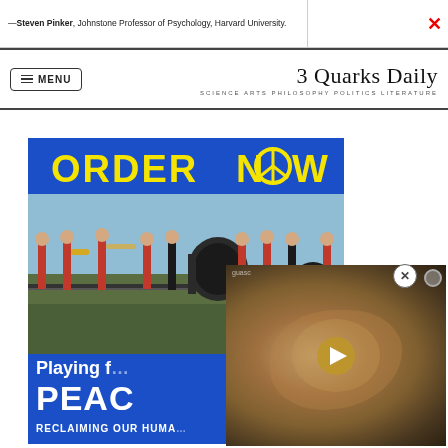—Steven Pinker, Johnstone Professor of Psychology, Harvard University.
3 Quarks Daily | SCIENCE ARTS PHILOSOPHY POLITICS LITERATURE
[Figure (photo): Advertisement for 'Playing for Peace: Reclaiming Our Humanity' book showing ORDER NOW! in yellow text on blue background, with photo of marching band playing instruments outdoors near water, and partially visible video overlay showing biological specimen]
[Figure (screenshot): Partially visible video overlay showing what appears to be a biological specimen or embryo in brownish tones with a play button]